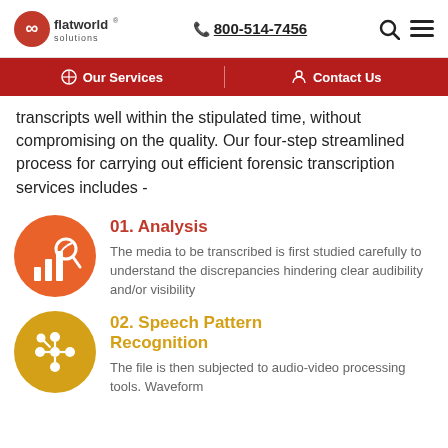flatworld solutions | 800-514-7456
Our Services | Contact Us
transcripts well within the stipulated time, without compromising on the quality. Our four-step streamlined process for carrying out efficient forensic transcription services includes -
[Figure (illustration): Orange circle icon with analysis/chart magnifier symbol]
01. Analysis
The media to be transcribed is first studied carefully to understand the discrepancies hindering clear audibility and/or visibility
[Figure (illustration): Yellow/gold circle icon with network/connection nodes symbol]
02. Speech Pattern Recognition
The file is then subjected to audio-video processing tools. Waveform